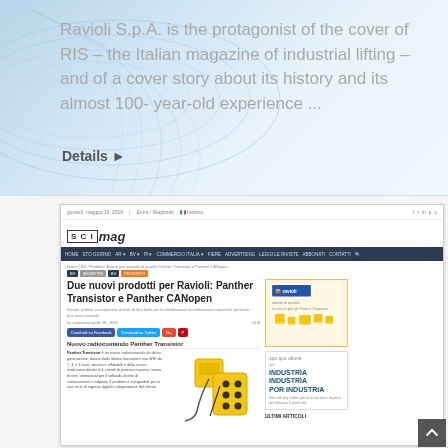Ravioli S.p.A. is the protagonist of the cover of RIS – the Italian magazine of industrial lifting – and of a cover story about its history and its almost 100-year-old experience ...
Details ▶
[Figure (screenshot): Screenshot of scimag.it webpage showing article 'Due nuovi prodotti per Ravioli: Panther Transistor e Panther CANopen' with navigation bar, article text, product image, and sidebar advertisement for Ravioli]